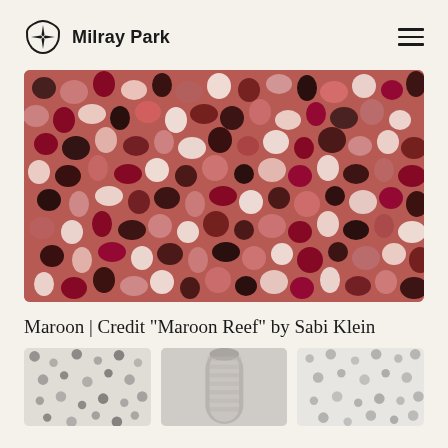Milray Park
[Figure (photo): Close-up photograph of abstract dotted pattern fabric or artwork in maroon, pink, black, and white tones — 'Maroon Reef' by Sabi Klein]
Maroon | Credit "Maroon Reef" by Sabi Klein
[Figure (photo): Three thumbnail images of similar dotted/speckled fabric or wallpaper samples in lighter tones]
[Figure (photo): Second thumbnail — speckled fabric roll]
[Figure (photo): Third thumbnail — light speckled texture]